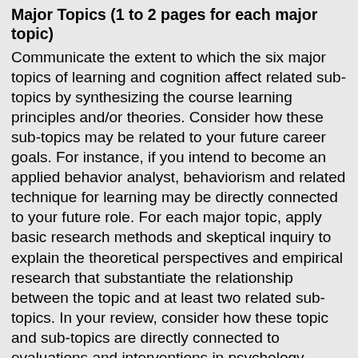Major Topics (1 to 2 pages for each major topic)
Communicate the extent to which the six major topics of learning and cognition affect related sub-topics by synthesizing the course learning principles and/or theories. Consider how these sub-topics may be related to your future career goals. For instance, if you intend to become an applied behavior analyst, behaviorism and related technique for learning may be directly connected to your future role. For each major topic, apply basic research methods and skeptical inquiry to explain the theoretical perspectives and empirical research that substantiate the relationship between the topic and at least two related sub-topics. In your review, consider how these topic and sub-topics are directly connected to evaluations and interventions in psychology practice in various fields. Focus on the areas most related to your future area of practice, paying particular attention to how theories are examined in research studies. The following are some sub-topics to